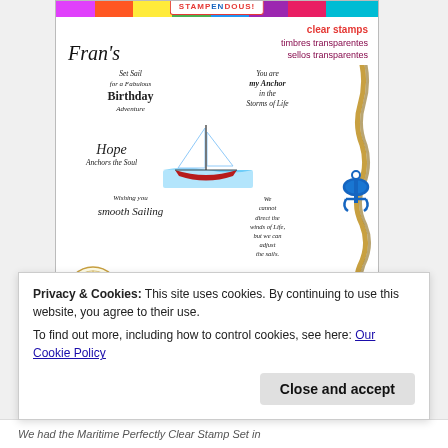[Figure (photo): Product photo of Stampendous 'Fran's' clear stamps nautical set. Features a colorful rainbow top bar, brand logo, script signature 'Fran's', multilingual 'clear stamps / timbres transparentes / sellos transparentes' text, and various nautical-themed rubber stamp images: sailboat, anchor with rope, compass rose, and multiple calligraphy sentiment stamps with texts: 'Set Sail for a Fabulous Birthday Adventure', 'You are my Anchor in the Storms of Life', 'Hope Anchors the Soul', 'Wishing you smooth Sailing', 'Let your Dreams set Sail', 'We cannot direct the winds of Life but we can adjust the sails.', 'You can't discover a new land.']
Privacy & Cookies: This site uses cookies. By continuing to use this website, you agree to their use.
To find out more, including how to control cookies, see here: Our Cookie Policy
Close and accept
We had the Maritime Perfectly Clear Stamp Set in